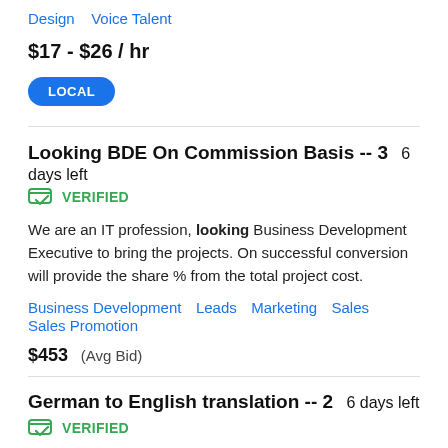Design   Voice Talent
$17 - $26 / hr
LOCAL
Looking BDE On Commission Basis -- 3  6 days left  VERIFIED
We are an IT profession, looking Business Development Executive to bring the projects. On successful conversion will provide the share % from the total project cost.
Business Development   Leads   Marketing   Sales   Sales Promotion
$453  (Avg Bid)
German to English translation -- 2  6 days left  VERIFIED